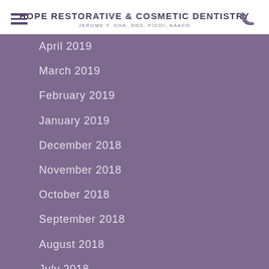HOPE RESTORATIVE & COSMETIC DENTISTRY
JEROME Y. CHA, DDS, FICOI, AAACD
April 2019
March 2019
February 2019
January 2019
December 2018
November 2018
October 2018
September 2018
August 2018
July 2018
June 2018